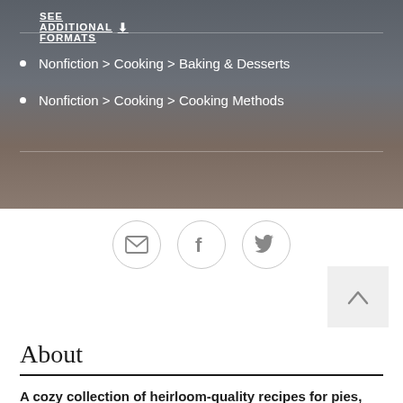SEE ADDITIONAL FORMATS ↓
Nonfiction > Cooking > Baking & Desserts
Nonfiction > Cooking > Cooking Methods
[Figure (other): Social sharing icons: email envelope, Facebook f, Twitter bird — each in a light grey circle outline]
[Figure (other): Back-to-top button: light grey square with upward caret/chevron symbol]
About
A cozy collection of heirloom-quality recipes for pies, cakes, tarts, ice cream, preserves, and other sweet treats that cherish as the fruit of